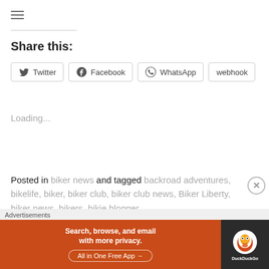Share this:
Twitter | Facebook | WhatsApp | webhook
Loading...
Posted in biker news and tagged backroad adventures, bikelife, biker, biker club, biker club news, Biker Liberty, biker news, bikers, bikie blogger
Advertisements
[Figure (other): DuckDuckGo advertisement banner: Search, browse, and email with more privacy. All in One Free App. DuckDuckGo logo on dark background.]